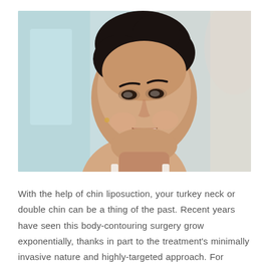[Figure (photo): A smiling young woman with dark hair pulled up, wearing a white top, looking upward and to the side. The background is blurred with soft teal and light tones. The image is a portrait-style photo used to illustrate a medical/cosmetic article about chin liposuction.]
With the help of chin liposuction, your turkey neck or double chin can be a thing of the past. Recent years have seen this body-contouring surgery grow exponentially, thanks in part to the treatment's minimally invasive nature and highly-targeted approach. For